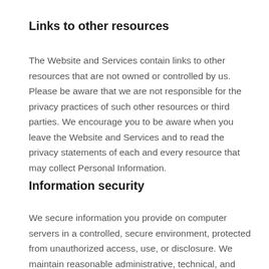Links to other resources
The Website and Services contain links to other resources that are not owned or controlled by us. Please be aware that we are not responsible for the privacy practices of such other resources or third parties. We encourage you to be aware when you leave the Website and Services and to read the privacy statements of each and every resource that may collect Personal Information.
Information security
We secure information you provide on computer servers in a controlled, secure environment, protected from unauthorized access, use, or disclosure. We maintain reasonable administrative, technical, and physical safeguards in an effort to protect against unauthorized access, use,